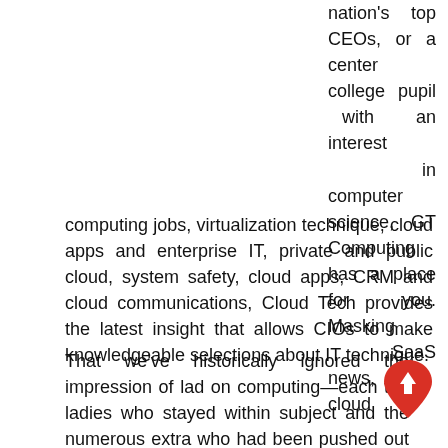nation's top CEOs, or a center college pupil with an interest in computer science, GT Computing has a place for you. Masking SaaS news, cloud computing jobs, virtualization technique, cloud apps and enterprise IT, private and public cloud, system safety, cloud apps, CRM and cloud communications, Cloud Tech provides the latest insight that allows CIOs to make knowledgeable selections about IT technique.
That we've historically ignored the impression of ladies on computing—each the ladies who stayed within the subject and the numerous extra who had been pushed out and shaped the sphere by means of their absence—exhibits how narratives of technological progress hide the
[Figure (other): Red teardrop/location pin shaped scroll-to-top button with an upward arrow icon (white arrow on red background)]